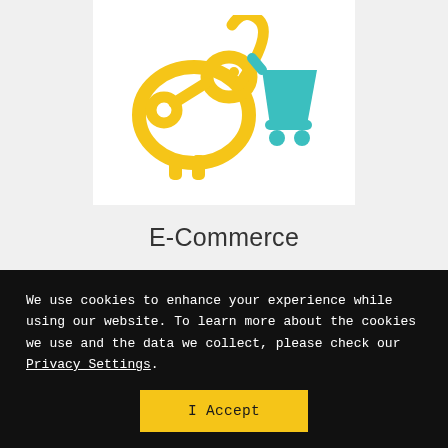[Figure (illustration): E-commerce logo illustration showing a yellow piggy bank / bird hybrid figure with a key beak on the left, and a teal shopping cart icon on the right, on a white background.]
E-Commerce
We use cookies to enhance your experience while using our website. To learn more about the cookies we use and the data we collect, please check our Privacy Settings.
I Accept